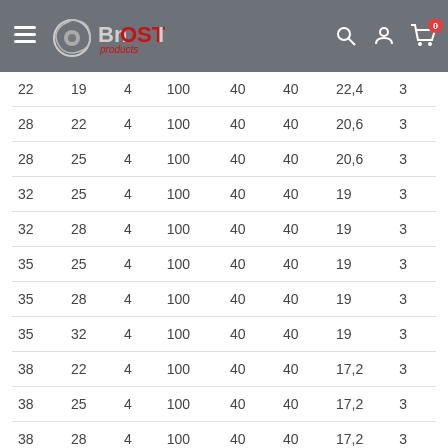Boost Products - Navigation header with logo
| 22 | 19 | 4 | 100 | 40 | 40 | 22,4 | 3 |
| 28 | 22 | 4 | 100 | 40 | 40 | 20,6 | 3 |
| 28 | 25 | 4 | 100 | 40 | 40 | 20,6 | 3 |
| 32 | 25 | 4 | 100 | 40 | 40 | 19 | 3 |
| 32 | 28 | 4 | 100 | 40 | 40 | 19 | 3 |
| 35 | 25 | 4 | 100 | 40 | 40 | 19 | 3 |
| 35 | 28 | 4 | 100 | 40 | 40 | 19 | 3 |
| 35 | 32 | 4 | 100 | 40 | 40 | 19 | 3 |
| 38 | 22 | 4 | 100 | 40 | 40 | 17,2 | 3 |
| 38 | 25 | 4 | 100 | 40 | 40 | 17,2 | 3 |
| 38 | 28 | 4 | 100 | 40 | 40 | 17,2 | 3 |